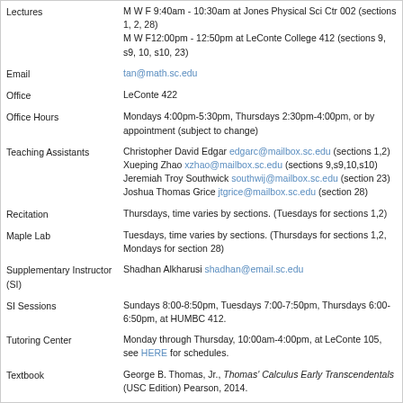| Field | Value |
| --- | --- |
| Lectures | M W F 9:40am - 10:30am at Jones Physical Sci Ctr 002 (sections 1, 2, 28)
M W F12:00pm - 12:50pm at LeConte College 412 (sections 9, s9, 10, s10, 23) |
| Email | tan@math.sc.edu |
| Office | LeConte 422 |
| Office Hours | Mondays 4:00pm-5:30pm, Thursdays 2:30pm-4:00pm, or by appointment (subject to change) |
| Teaching Assistants | Christopher David Edgar edgarc@mailbox.sc.edu (sections 1,2)
Xueping Zhao xzhao@mailbox.sc.edu (sections 9,s9,10,s10)
Jeremiah Troy Southwick southwij@mailbox.sc.edu (section 23)
Joshua Thomas Grice jtgrice@mailbox.sc.edu (section 28) |
| Recitation | Thursdays, time varies by sections. (Tuesdays for sections 1,2) |
| Maple Lab | Tuesdays, time varies by sections. (Thursdays for sections 1,2, Mondays for section 28) |
| Supplementary Instructor (SI) | Shadhan Alkharusi shadhan@email.sc.edu |
| SI Sessions | Sundays 8:00-8:50pm, Tuesdays 7:00-7:50pm, Thursdays 6:00-6:50pm, at HUMBC 412. |
| Tutoring Center | Monday through Thursday, 10:00am-4:00pm, at LeConte 105, see HERE for schedules. |
| Textbook | George B. Thomas, Jr., Thomas' Calculus Early Transcendentals (USC Edition) Pearson, 2014. |
| Syllabus | Click Here |